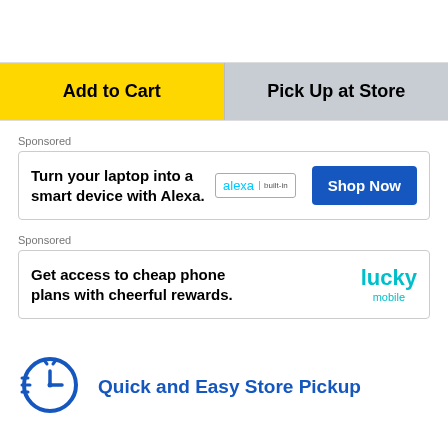Add to Cart
Pick Up at Store
Sponsored
Turn your laptop into a smart device with Alexa.
Shop Now
Sponsored
Get access to cheap phone plans with cheerful rewards.
[Figure (logo): Lucky Mobile logo in cyan/teal color]
Quick and Easy Store Pickup